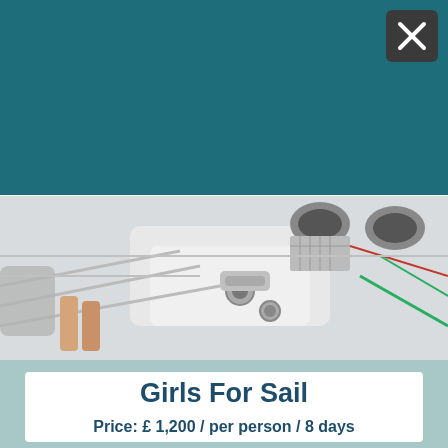The Fastest Way to Our Award Winning Charter Service Starts Here
[Figure (screenshot): Yellow 'Get Started' button on teal background with red arrow chevrons]
[Figure (photo): Close-up of sailboat deck with metal rigging, winches, and ropes]
Girls For Sail
Price: £ 1,200 / per person / 8 days